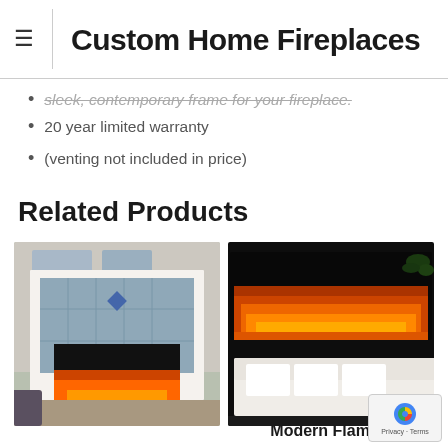Custom Home Fireplaces
sleek, contemporary frame for your fireplace.
20 year limited warranty
(venting not included in price)
Related Products
[Figure (photo): White mantel fireplace with blue-grey tile surround and glowing insert]
[Figure (photo): Modern black wall-mounted electric fireplace with orange flames above white sofa]
Modern Flames